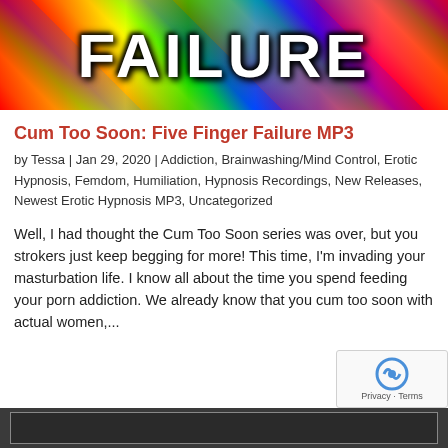[Figure (illustration): Colorful rainbow/psychedelic background with the word FAILURE in large white Impact font with dark outline]
Cum Too Soon: Five Finger Failure MP3
by Tessa | Jan 29, 2020 | Addiction, Brainwashing/Mind Control, Erotic Hypnosis, Femdom, Humiliation, Hypnosis Recordings, New Releases, Newest Erotic Hypnosis MP3, Uncategorized
Well, I had thought the Cum Too Soon series was over, but you strokers just keep begging for more! This time, I'm invading your masturbation life. I know all about the time you spend feeding your porn addiction. We already know that you cum too soon with actual women,...
[Figure (screenshot): Dark audio player bar at the bottom of the page]